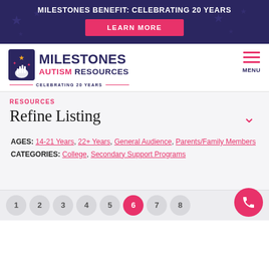MILESTONES BENEFIT: CELEBRATING 20 YEARS
[Figure (logo): Milestones Autism Resources logo with hand icon, celebrating 20 years tagline]
RESOURCES
Refine Listing
AGES: 14-21 Years, 22+ Years, General Audience, Parents/Family Members
CATEGORIES: College, Secondary Support Programs
1 2 3 4 5 6 7 8